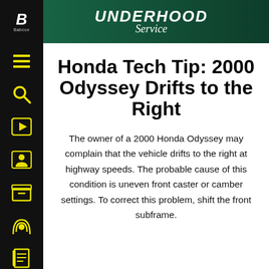UNDERHOOD Service
Honda Tech Tip: 2000 Odyssey Drifts to the Right
The owner of a 2000 Honda Odyssey may complain that the vehicle drifts to the right at highway speeds. The probable cause of this condition is uneven front caster or camber settings. To correct this problem, shift the front subframe.